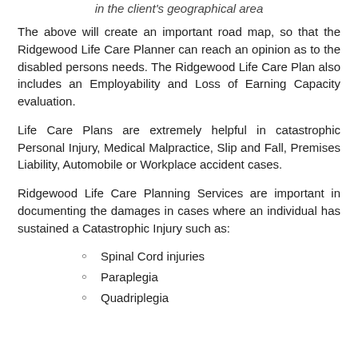in the client's geographical area
The above will create an important road map, so that the Ridgewood Life Care Planner can reach an opinion as to the disabled persons needs. The Ridgewood Life Care Plan also includes an Employability and Loss of Earning Capacity evaluation.
Life Care Plans are extremely helpful in catastrophic Personal Injury, Medical Malpractice, Slip and Fall, Premises Liability, Automobile or Workplace accident cases.
Ridgewood Life Care Planning Services are important in documenting the damages in cases where an individual has sustained a Catastrophic Injury such as:
Spinal Cord injuries
Paraplegia
Quadriplegia